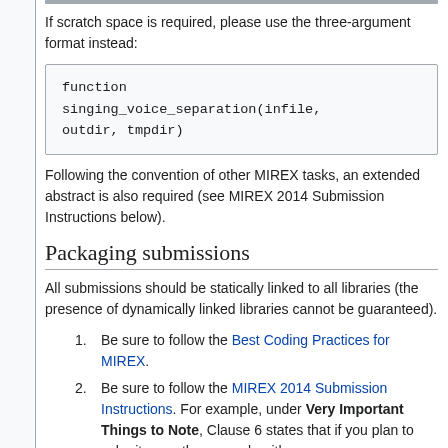If scratch space is required, please use the three-argument format instead:
function singing_voice_separation(infile, outdir, tmpdir)
Following the convention of other MIREX tasks, an extended abstract is also required (see MIREX 2014 Submission Instructions below).
Packaging submissions
All submissions should be statically linked to all libraries (the presence of dynamically linked libraries cannot be guaranteed).
Be sure to follow the Best Coding Practices for MIREX.
Be sure to follow the MIREX 2014 Submission Instructions. For example, under Very Important Things to Note, Clause 6 states that if you plan to submit more than one algorithm or